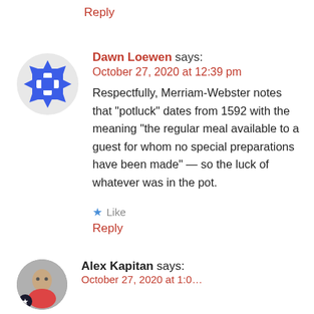Reply
Dawn Loewen says: October 27, 2020 at 12:39 pm Respectfully, Merriam-Webster notes that “potluck” dates from 1592 with the meaning “the regular meal available to a guest for whom no special preparations have been made” — so the luck of whatever was in the pot.
Like
Reply
Alex Kapitan says: